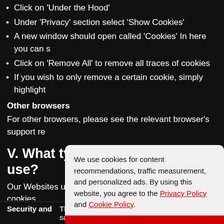Click on 'Under the Hood'
Under 'Privacy' section select 'Show Cookies'
A new window should open called 'Cookies' In here you can s…
Click on 'Remove All' to remove all traces of cookies
If you wish to only remove a certain cookie, simply highlight…
Other browsers
For other browsers, please see the relevant browser's support re…
V. What types of cookies do We use?
Our Websites use session cookies and persistent cookies.
Sessi… …are er
Persi… …b-fol
VI. … …ly us…
[Figure (infographic): Cookie consent popup overlay with text: 'We use cookies for content recommendations, traffic measurement, and personalized ads. By using this website, you agree to the Privacy Policy and Cookie Policy.' with a red 'Got it' button.]
A… …rvers …ed w…
Security and     These cookies enable us to keep Our Website safe…